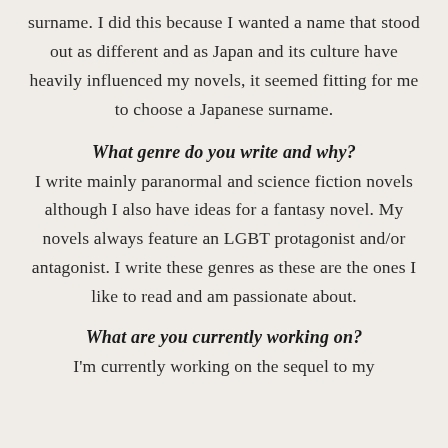surname. I did this because I wanted a name that stood out as different and as Japan and its culture have heavily influenced my novels, it seemed fitting for me to choose a Japanese surname.
What genre do you write and why?
I write mainly paranormal and science fiction novels although I also have ideas for a fantasy novel. My novels always feature an LGBT protagonist and/or antagonist. I write these genres as these are the ones I like to read and am passionate about.
What are you currently working on?
I'm currently working on the sequel to my